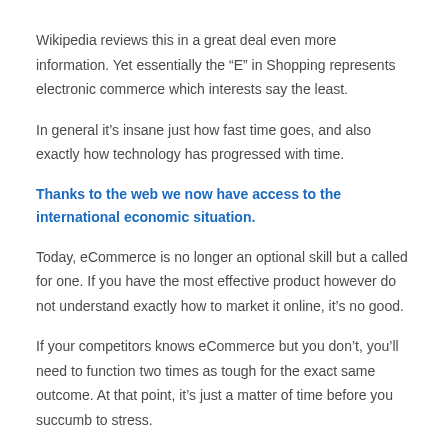Wikipedia reviews this in a great deal even more information. Yet essentially the “E” in Shopping represents electronic commerce which interests say the least.
In general it’s insane just how fast time goes, and also exactly how technology has progressed with time.
Thanks to the web we now have access to the international economic situation.
Today, eCommerce is no longer an optional skill but a called for one. If you have the most effective product however do not understand exactly how to market it online, it’s no good.
If your competitors knows eCommerce but you don’t, you’ll need to function two times as tough for the exact same outcome. At that point, it’s just a matter of time before you succumb to stress.